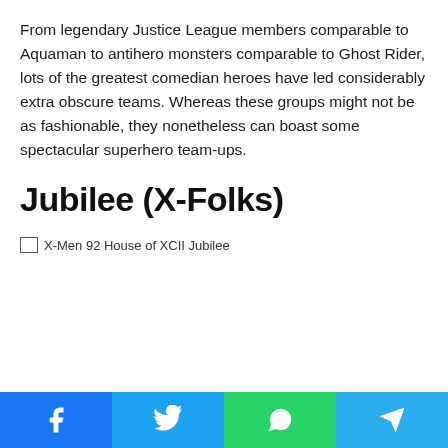From legendary Justice League members comparable to Aquaman to antihero monsters comparable to Ghost Rider, lots of the greatest comedian heroes have led considerably extra obscure teams. Whereas these groups might not be as fashionable, they nonetheless can boast some spectacular superhero team-ups.
Jubilee (X-Folks)
[Figure (photo): Broken image placeholder labeled 'X-Men 92 House of XCII Jubilee']